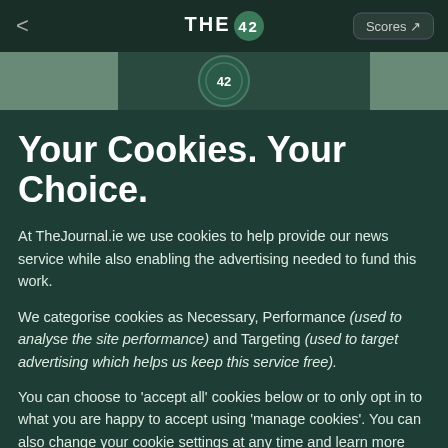THE 42 | Scores
[Figure (logo): The42 logo badge with circular emblem in banner strip]
Your Cookies. Your Choice.
At TheJournal.ie we use cookies to help provide our news service while also enabling the advertising needed to fund this work.
We categorise cookies as Necessary, Performance (used to analyse the site performance) and Targeting (used to target advertising which helps us keep this service free).
You can choose to 'accept all' cookies below or to only opt in to what you are happy to accept using 'manage cookies'. You can also change your cookie settings at any time and learn more about how we use cookies in our Privacy Policy